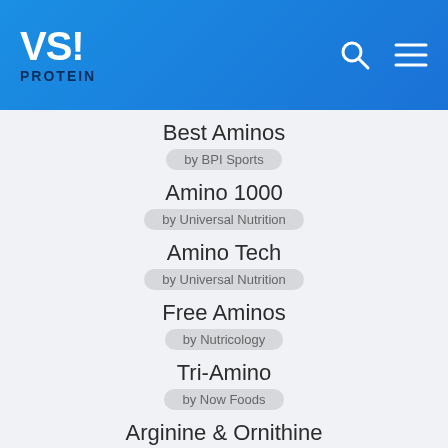VS! PROTEIN
Best Aminos by BPI Sports
Amino 1000 by Universal Nutrition
Amino Tech by Universal Nutrition
Free Aminos by Nutricology
Tri-Amino by Now Foods
Arginine & Ornithine by Now Foods
Animal Nitro by Universal Nutrition